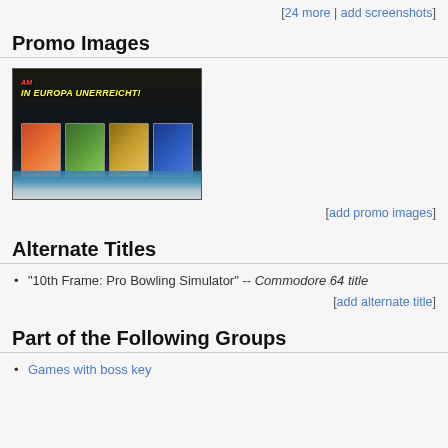[24 more | add screenshots]
Promo Images
[Figure (photo): Promo image showing German text 'IN EUROPA UNERREICHT!' with four game covers displayed in front of an Earth globe background]
[add promo images]
Alternate Titles
"10th Frame: Pro Bowling Simulator" -- Commodore 64 title
[add alternate title]
Part of the Following Groups
Games with boss key